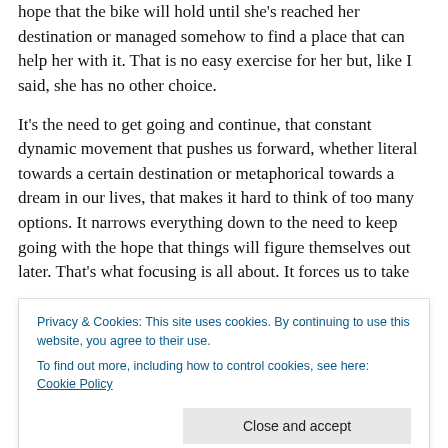hope that the bike will hold until she's reached her destination or managed somehow to find a place that can help her with it. That is no easy exercise for her but, like I said, she has no other choice.
It's the need to get going and continue, that constant dynamic movement that pushes us forward, whether literal towards a certain destination or metaphorical towards a dream in our lives, that makes it hard to think of too many options. It narrows everything down to the need to keep going with the hope that things will figure themselves out later. That's what focusing is all about. It forces us to take
Privacy & Cookies: This site uses cookies. By continuing to use this website, you agree to their use.
To find out more, including how to control cookies, see here: Cookie Policy
thoughts and concerns into larger issues.